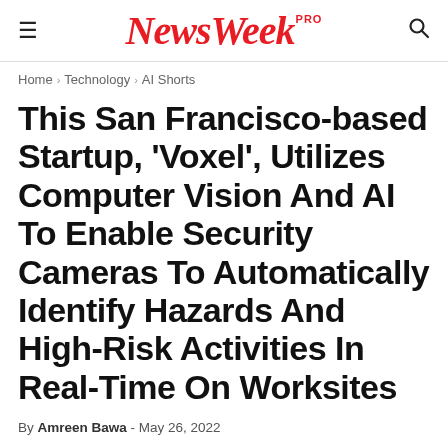NewsWeek PRO
Home › Technology › AI Shorts
This San Francisco-based Startup, 'Voxel', Utilizes Computer Vision And AI To Enable Security Cameras To Automatically Identify Hazards And High-Risk Activities In Real-Time On Worksites
By Amreen Bawa - May 26, 2022